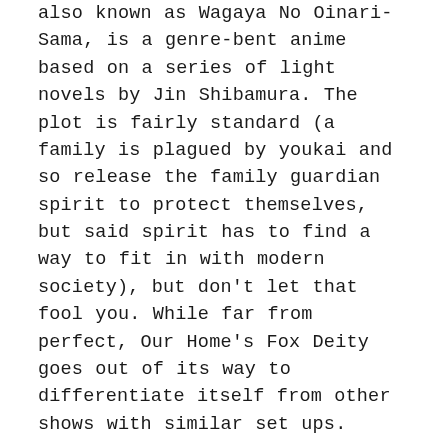also known as Wagaya No Oinari-Sama, is a genre-bent anime based on a series of light novels by Jin Shibamura. The plot is fairly standard (a family is plagued by youkai and so release the family guardian spirit to protect themselves, but said spirit has to find a way to fit in with modern society), but don't let that fool you. While far from perfect, Our Home's Fox Deity goes out of its way to differentiate itself from other shows with similar set ups.
Combining elements of shōnen action, a small degree of harem-esque set-up, a smidgen of horror (including some beautifully done werewolf transformations later in the series) and boasting a fair few slice of life tendencies, it's no wonder that the show is commonly described as not knowing what it wants to be. Rather than come across as directionless however, the genre-bending pays off thanks to a decent